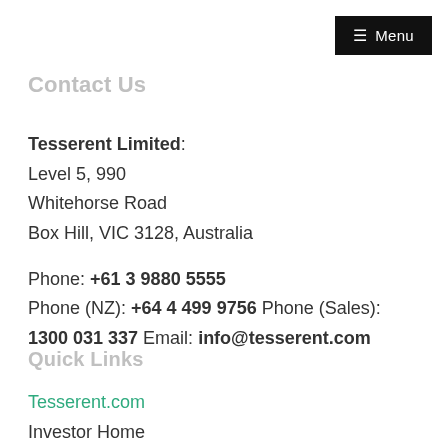≡ Menu
Contact Us
Tesserent Limited:
Level 5, 990
Whitehorse Road
Box Hill, VIC 3128, Australia

Phone: +61 3 9880 5555
Phone (NZ): +64 4 499 9756 Phone (Sales):
1300 031 337 Email: info@tesserent.com
Quick Links
Tesserent.com
Investor Home